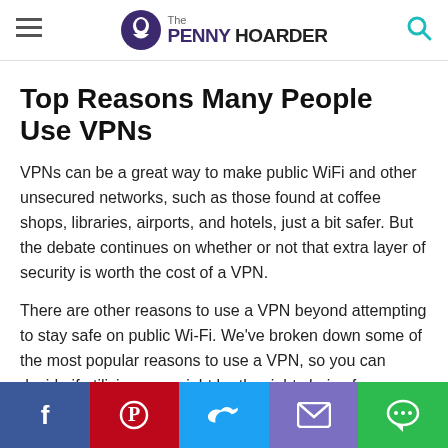The Penny Hoarder
Top Reasons Many People Use VPNs
VPNs can be a great way to make public WiFi and other unsecured networks, such as those found at coffee shops, libraries, airports, and hotels, just a bit safer. But the debate continues on whether or not that extra layer of security is worth the cost of a VPN.
There are other reasons to use a VPN beyond attempting to stay safe on public Wi-Fi. We've broken down some of the most popular reasons to use a VPN, so you can decide if utilizing one might be the right choice for your devices.